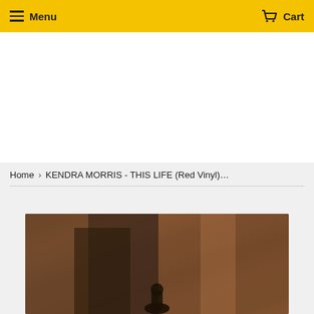Menu  Cart
Home › KENDRA MORRIS - THIS LIFE (Red Vinyl)…
[Figure (photo): Product image showing a dark, warm-toned photograph of what appears to be an album cover for Kendra Morris - This Life (Red Vinyl), with brown and amber tones and a silhouetted figure at the bottom.]